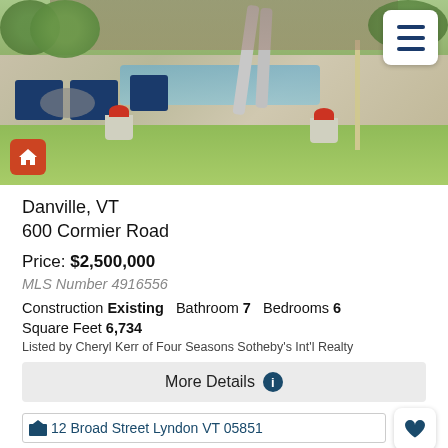[Figure (photo): Aerial/outdoor view of property showing pool area with patio furniture, water slide, umbrella, flower pots with red flowers, and green lawn]
Danville, VT
600 Cormier Road
Price: $2,500,000
MLS Number 4916556
Construction Existing   Bathroom 7   Bedrooms 6
Square Feet 6,734
Listed by Cheryl Kerr of Four Seasons Sotheby's Int'l Realty
More Details
12 Broad Street Lyndon VT 05851
Lyndon, VT
12 Broad Street